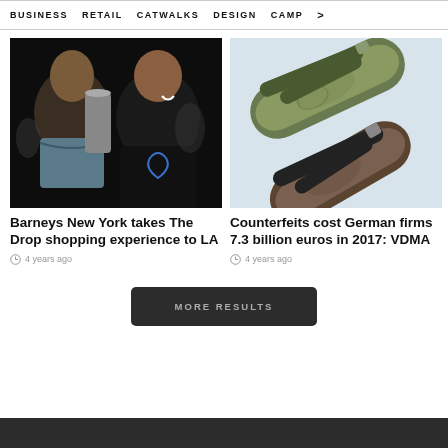BUSINESS   RETAIL   CATWALKS   DESIGN   CAMP >
[Figure (photo): Two men laughing and talking at an event, one in a dark shirt with a graphic design]
Barneys New York takes The Drop shopping experience to LA
4 years ago
[Figure (photo): Two pairs of Birkenstock-style sandals/slides with leather straps on a light blue background]
Counterfeits cost German firms 7.3 billion euros in 2017: VDMA
4 years ago
MORE RESULTS